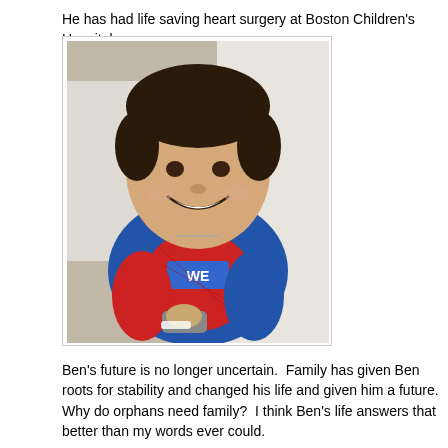He has had life saving heart surgery at Boston Children's Hospital.
[Figure (photo): A young Asian boy smiling and holding a remote control or phone, wearing a blue and red Spiderman outfit, sitting in what appears to be a hospital bed with white pillows behind him.]
Ben's future is no longer uncertain.  Family has given Ben roots for stability and changed his life and given him a future.  Why do orphans need family?  I think Ben's life answers that better than my words ever could.